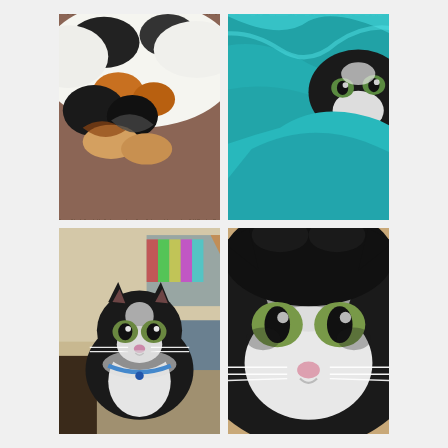[Figure (photo): Close-up photo of a long-haired black, white, and orange calico cat lying on a brown/reddish carpet, showing its fluffy fur and paws from above]
[Figure (photo): Close-up photo of a black and white cat peeking out from under a teal/turquoise fuzzy blanket, showing its face with green eyes]
[Figure (photo): Photo of a black and white long-haired cat sitting and looking at the camera, wearing a blue collar, with a room interior in the background]
[Figure (photo): Very close-up portrait of a black and white cat's face with green eyes and white whiskers, looking directly at camera]